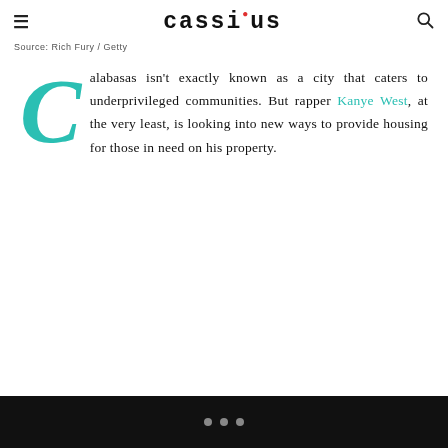cassius
Source: Rich Fury / Getty
Calabasas isn't exactly known as a city that caters to underprivileged communities. But rapper Kanye West, at the very least, is looking into new ways to provide housing for those in need on his property.